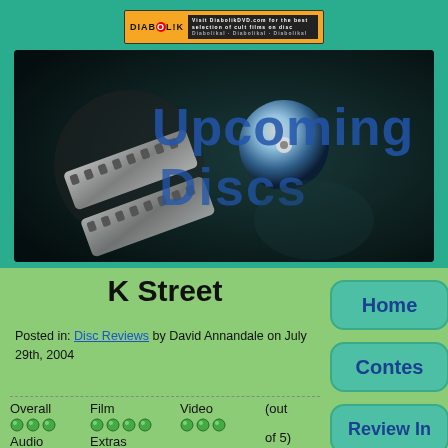[Figure (logo): Diabolik DVD banner advertisement with orange/black logo and skull graphic]
[Figure (logo): Upcoming Discs website logo with film reel and DVD disc graphic on dark background]
K Street
Posted in: Disc Reviews by David Annandale on July 29th, 2004
| Overall | Film | Video |  | Audio | Extras | of 5) |
| --- | --- | --- | --- | --- | --- | --- |
| (dots) | (dots) | (dots) | (out | (dots) | (dots) |  |
Home
Contes
Review In